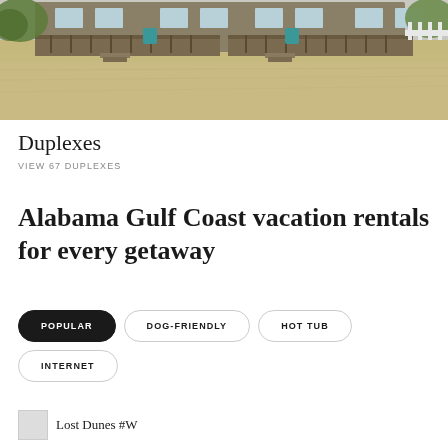[Figure (photo): Exterior photo of a duplex building with a large gravel driveway in the foreground, wooden decks, teal trash cans, and trees/foliage in the background.]
Duplexes
VIEW 67 DUPLEXES
Alabama Gulf Coast vacation rentals for every getaway
POPULAR
DOG-FRIENDLY
HOT TUB
INTERNET
Lost Dunes #W